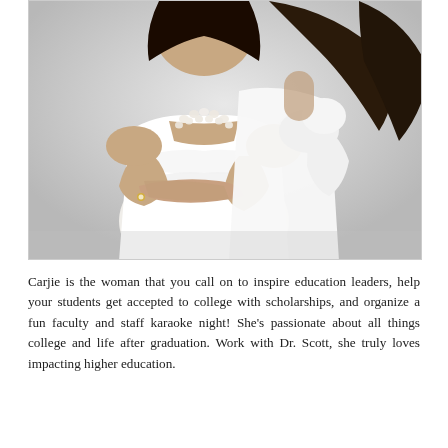[Figure (photo): Two women in white outfits posing together against a light grey background. The woman in front wears an off-shoulder white dress with ruffles and a layered pearl necklace, with arms crossed. The woman behind wears a white long-sleeve top.]
Carjie is the woman that you call on to inspire education leaders, help your students get accepted to college with scholarships, and organize a fun faculty and staff karaoke night! She's passionate about all things college and life after graduation. Work with Dr. Scott, she truly loves impacting higher education.